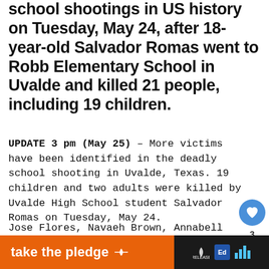school shootings in US history on Tuesday, May 24, after 18-year-old Salvador Romas went to Robb Elementary School in Uvalde and killed 21 people, including 19 children.
UPDATE 3 pm (May 25) – More victims have been identified in the deadly school shooting in Uvalde, Texas. 19 children and two adults were killed by Uvalde High School student Salvador Romas on Tuesday, May 24.
Jose Flores, Navaeh Brown, Annabell Guadalupe Rodriguez and Ellie Lugo, all aged 10, are the children to be named as the victim of Romas' rampage at the Robb Elementary School.
[Figure (screenshot): Heart/like button (blue circle with heart icon) and share button (grey circle with share icon), social interaction sidebar]
[Figure (screenshot): What's next overlay: thumbnail image of person and text 'WHAT'S NEXT → TV station ridiculed for...']
[Figure (screenshot): Bottom advertisement bar: orange background with text 'take the pledge', RELEASE logo, Ed logo, MSNBC bars logo]